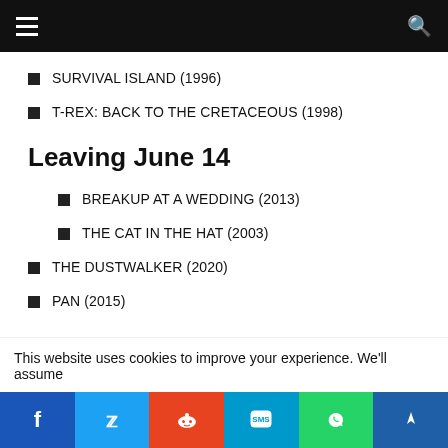SURVIVAL ISLAND (1996)
T-REX: BACK TO THE CRETACEOUS (1998)
Leaving June 14
BREAKUP AT A WEDDING (2013)
THE CAT IN THE HAT (2003)
THE DUSTWALKER (2020)
PAN (2015)
This website uses cookies to improve your experience. We'll assume